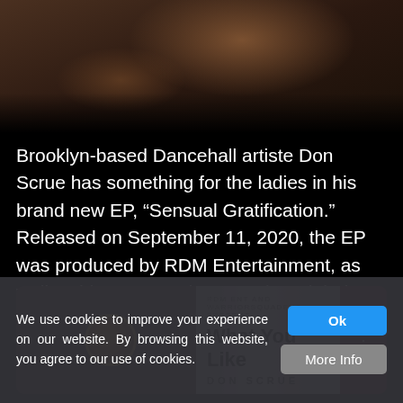[Figure (photo): Close-up photo of a person with dreadlocks wearing a red top, dark background]
Brooklyn-based Dancehall artiste Don Scrue has something for the ladies in his brand new EP, “Sensual Gratification.” Released on September 11, 2020, the EP was produced by RDM Entertainment, as well as his own Warrior Squad Ent label.
[Figure (screenshot): Music embed card showing 'What You Like' by Don Scrue with album art thumbnail and dark maroon background]
We use cookies to improve your experience on our website. By browsing this website, you agree to our use of cookies.